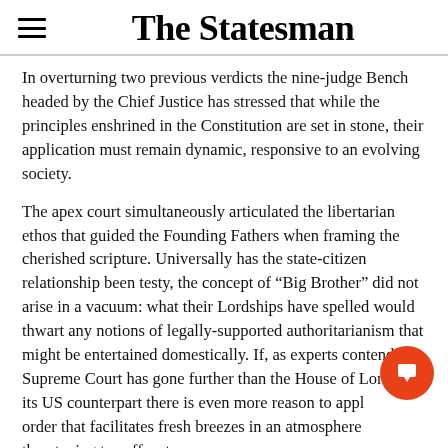The Statesman
In overturning two previous verdicts the nine-judge Bench headed by the Chief Justice has stressed that while the principles enshrined in the Constitution are set in stone, their application must remain dynamic, responsive to an evolving society.
The apex court simultaneously articulated the libertarian ethos that guided the Founding Fathers when framing the cherished scripture. Universally has the state-citizen relationship been testy, the concept of “Big Brother” did not arise in a vacuum: what their Lordships have spelled would thwart any notions of legally-supported authoritarianism that might be entertained domestically. If, as experts contend, the Supreme Court has gone further than the House of Lords and its US counterpart there is even more reason to applaud an order that facilitates fresh breezes in an atmosphere that is threatening to suffocate.